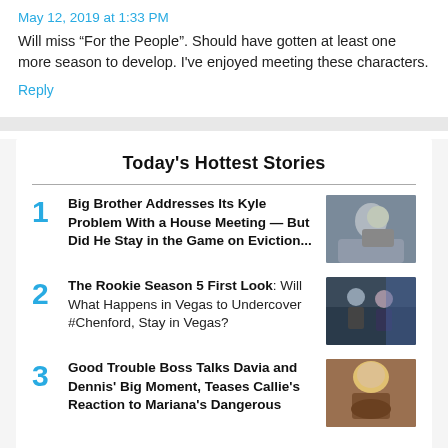May 12, 2019 at 1:33 PM
Will miss “For the People”. Should have gotten at least one more season to develop. I’ve enjoyed meeting these characters.
Reply
Today’s Hottest Stories
1 Big Brother Addresses Its Kyle Problem With a House Meeting — But Did He Stay in the Game on Eviction...
2 The Rookie Season 5 First Look: Will What Happens in Vegas to Undercover #Chenford, Stay in Vegas?
3 Good Trouble Boss Talks Davia and Dennis’ Big Moment, Teases Callie’s Reaction to Mariana’s Dangerous...